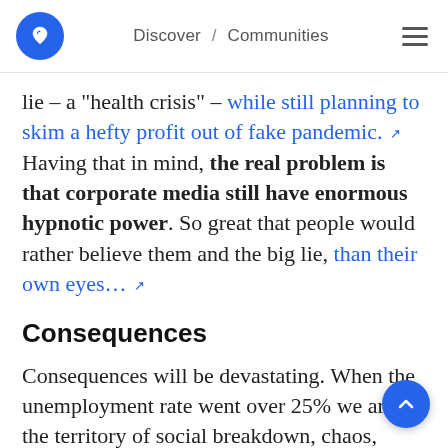Discover / Communities
lie – a “health crisis” – while still planning to skim a hefty profit out of fake pandemic. Having that in mind, the real problem is that corporate media still have enormous hypnotic power. So great that people would rather believe them and the big lie, than their own eyes…
Consequences
Consequences will be devastating. When the unemployment rate went over 25% we are in the territory of social breakdown, chaos,